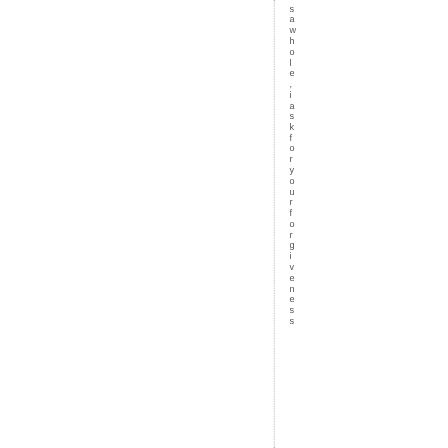saw whole, i ask for your forgiveness